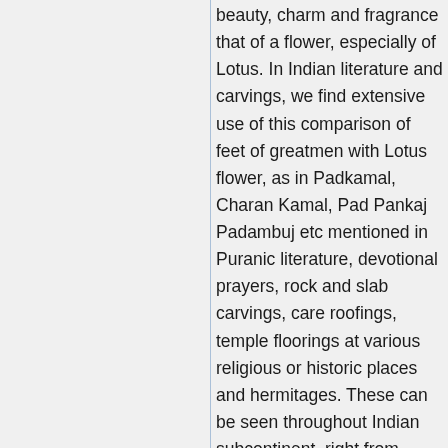beauty, charm and fragrance that of a flower, especially of Lotus. In Indian literature and carvings, we find extensive use of this comparison of feet of greatmen with Lotus flower, as in Padkamal, Charan Kamal, Pad Pankaj Padambuj etc mentioned in Puranic literature, devotional prayers, rock and slab carvings, care roofings, temple floorings at various religious or historic places and hermitages. These can be seen throughout Indian subcontinent, right from ancient times to the present day and includes foot print traditions of Jains, Buddhists, Shavites, Vaishanavites and Shakti